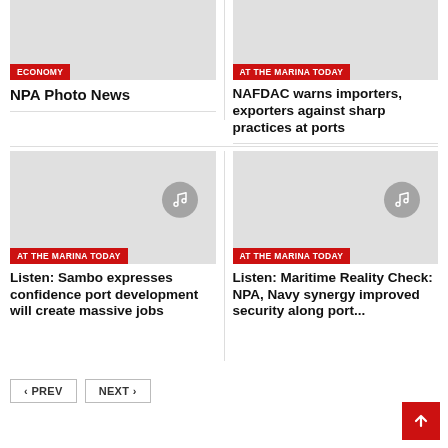[Figure (photo): Grey placeholder image with ECONOMY badge]
NPA Photo News
[Figure (photo): Grey placeholder image with AT THE MARINA TODAY badge]
NAFDAC warns importers, exporters against sharp practices at ports
[Figure (illustration): Grey placeholder image with music icon and AT THE MARINA TODAY badge]
Listen: Sambo expresses confidence port development will create massive jobs
[Figure (illustration): Grey placeholder image with music icon and AT THE MARINA TODAY badge]
Listen: Maritime Reality Check: NPA, Navy synergy improved security along port...
< PREV
NEXT >